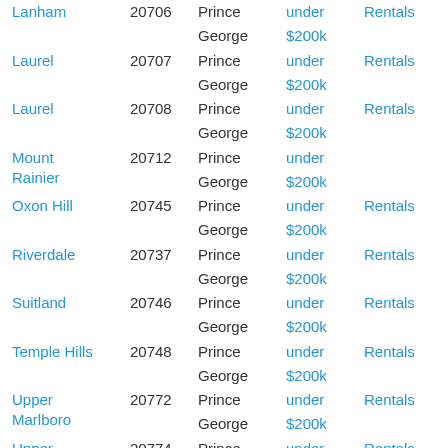| City | ZIP | County | Price | Type |
| --- | --- | --- | --- | --- |
| Lanham | 20706 | Prince George | under $200k | Rentals |
| Laurel | 20707 | Prince George | under $200k | Rentals |
| Laurel | 20708 | Prince George | under $200k | Rentals |
| Mount Rainier | 20712 | Prince George | under $200k |  |
| Oxon Hill | 20745 | Prince George | under $200k | Rentals |
| Riverdale | 20737 | Prince George | under $200k | Rentals |
| Suitland | 20746 | Prince George | under $200k | Rentals |
| Temple Hills | 20748 | Prince George | under $200k | Rentals |
| Upper Marlboro | 20772 | Prince George | under $200k | Rentals |
| Upper Marlboro | 20774 | Prince George | under $200k | Rentals |
Provided courtesy of the 1st Home Network